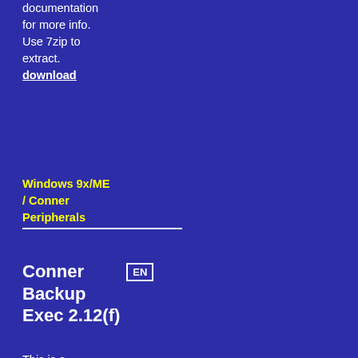documentation for more info. Use 7zip to extract.
download
Windows 9x/ME / Conner Peripherals
Conner Backup Exec 2.12(f)
This is a program for Windows which can interface with Parallel Port and ATA (EIDE) tape drives. It is capable of reading/writing/formatting various tape formats, and should be able to be used as a replacement software for